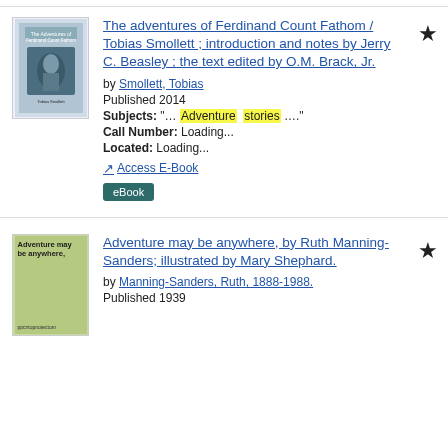[Figure (illustration): Book cover for The Adventures of Ferdinand Count Fathom, blue toned image with figure]
The adventures of Ferdinand Count Fathom / Tobias Smollett ; introduction and notes by Jerry C. Beasley ; the text edited by O.M. Brack, Jr.
by Smollett, Tobias
Published 2014
Subjects: "… Adventure stories …."
Call Number: Loading...
Located: Loading...
Access E-Book
eBook
[Figure (illustration): Book cover for Adventure may be anywhere, green cover with title text]
Adventure may be anywhere, by Ruth Manning-Sanders; illustrated by Mary Shephard.
by Manning-Sanders, Ruth, 1888-1988.
Published 1939